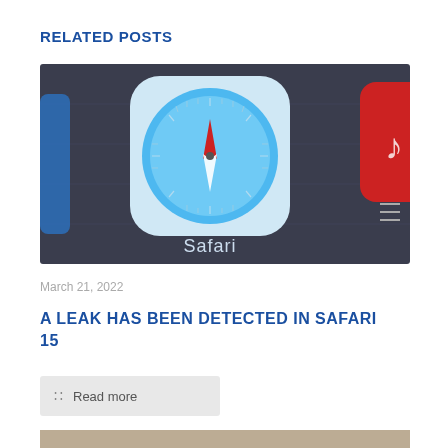RELATED POSTS
[Figure (photo): Close-up photo of an iPhone screen showing the Safari app icon (blue compass with red and white needle on light blue background) and a red music app icon partially visible on the right. The word 'Safari' appears at the bottom of the icon.]
March 21, 2022
A LEAK HAS BEEN DETECTED IN SAFARI 15
Read more
[Figure (photo): Partial view of another article image at the bottom of the page, partially cut off.]